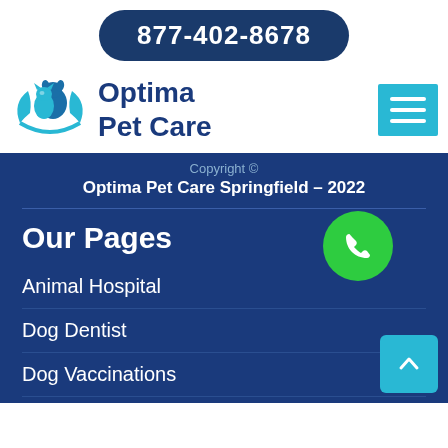877-402-8678
[Figure (logo): Optima Pet Care logo: blue circular icon with dog and cat silhouettes in hands]
Optima Pet Care
[Figure (other): Hamburger menu icon on cyan/teal square background]
Copyright ©
Optima Pet Care Springfield – 2022
Our Pages
Animal Hospital
Dog Dentist
Dog Vaccinations
Emergency Vet